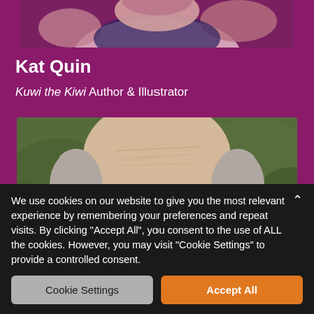[Figure (photo): Partial photo of a person at the top, showing shoulders and arms with tattoos, cropped]
Kat Quin
Kuwi the Kiwi Author & Illustrator
[Figure (photo): Photo of an older man with grey hair and dark-rimmed glasses, head tilted down, green foliage background]
We use cookies on our website to give you the most relevant experience by remembering your preferences and repeat visits. By clicking "Accept All", you consent to the use of ALL the cookies. However, you may visit "Cookie Settings" to provide a controlled consent.